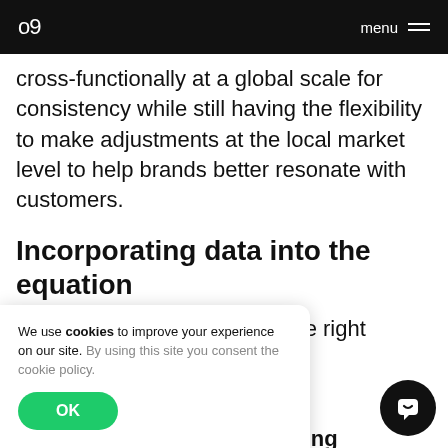o9 | menu
cross-functionally at a global scale for consistency while still having the flexibility to make adjustments at the local market level to help brands better resonate with customers.
Incorporating data into the equation
In order to enable targeting the right ons, nlock a scalable occasion-based planning
We use cookies to improve your experience on our site. By using this site you consent the cookie policy.
OK